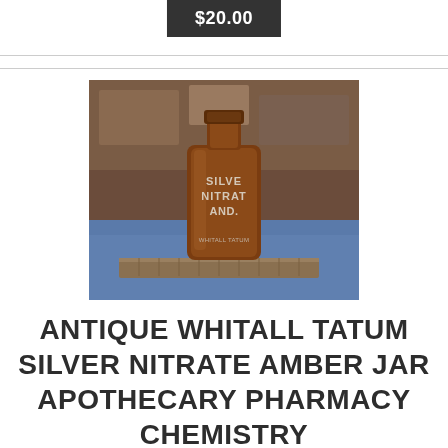$20.00
[Figure (photo): Antique amber glass apothecary jar labeled 'Silver Nitrate' sitting on a blue cloth surface with wooden furniture in the background]
ANTIQUE WHITALL TATUM SILVER NITRATE AMBER JAR APOTHECARY PHARMACY CHEMISTRY